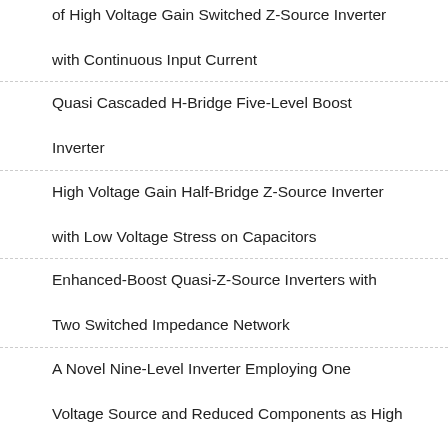of High Voltage Gain Switched Z-Source Inverter with Continuous Input Current
Quasi Cascaded H-Bridge Five-Level Boost Inverter
High Voltage Gain Half-Bridge Z-Source Inverter with Low Voltage Stress on Capacitors
Enhanced-Boost Quasi-Z-Source Inverters with Two Switched Impedance Network
A Novel Nine-Level Inverter Employing One Voltage Source and Reduced Components as High Frequency AC Power Source
A New Class of Single-Phase High Fr...